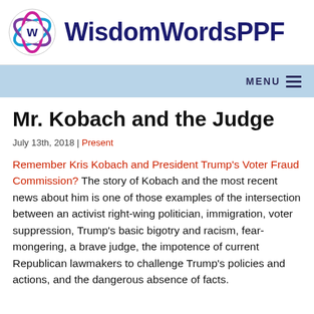[Figure (logo): WisdomWordsPPF logo with circular swirl icon in pink, purple, and blue colors, followed by the text 'WisdomWordsPPF' in dark navy bold font]
MENU ☰
Mr. Kobach and the Judge
July 13th, 2018 | Present
Remember Kris Kobach and President Trump's Voter Fraud Commission? The story of Kobach and the most recent news about him is one of those examples of the intersection between an activist right-wing politician, immigration, voter suppression, Trump's basic bigotry and racism, fear-mongering, a brave judge, the impotence of current Republican lawmakers to challenge Trump's policies and actions, and the dangerous absence of facts.